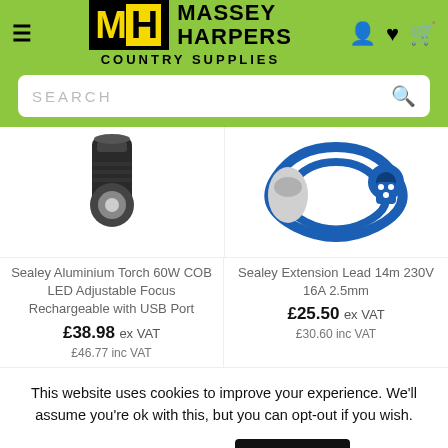[Figure (logo): Massey Harpers Country Supplies logo with green background, navigation hamburger menu, and icons for account, wishlist, and cart]
[Figure (screenshot): Search bar with placeholder text SEARCH and magnifying glass icon on green background]
[Figure (photo): Sealey Aluminium Torch 60W COB LED product image (partial, top cropped)]
[Figure (photo): Sealey Extension Lead 14m 230V 16A 2.5mm product image with blue cable and connectors (partial, top cropped)]
Sealey Aluminium Torch 60W COB LED Adjustable Focus Rechargeable with USB Port
£38.98 ex VAT
£46.77 inc VAT
Sealey Extension Lead 14m 230V 16A 2.5mm
£25.50 ex VAT
£30.60 inc VAT
This website uses cookies to improve your experience. We'll assume you're ok with this, but you can opt-out if you wish.
Cookie settings   ACCEPT